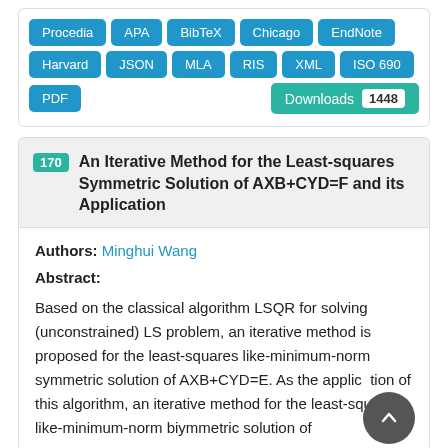[Figure (other): Citation format buttons: Procedia, APA, BibTeX, Chicago, EndNote, Harvard, JSON, MLA, RIS, XML, ISO 690, PDF, and a Downloads counter showing 1448]
170 An Iterative Method for the Least-squares Symmetric Solution of AXB+CYD=F and its Application
Authors: Minghui Wang
Abstract:
Based on the classical algorithm LSQR for solving (unconstrained) LS problem, an iterative method is proposed for the least-squares like-minimum-norm symmetric solution of AXB+CYD=E. As the application of this algorithm, an iterative method for the least-squares like-minimum-norm biymmetric solution of